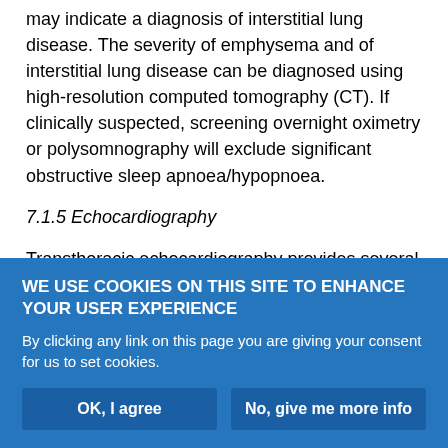may indicate a diagnosis of interstitial lung disease. The severity of emphysema and of interstitial lung disease can be diagnosed using high-resolution computed tomography (CT). If clinically suspected, screening overnight oximetry or polysomnography will exclude significant obstructive sleep apnoea/hypopnoea.
7.1.5 Echocardiography
Transthoracic echocardiography provides several variables which correlate with right heart haemodynamics including PAP, and should always be performed in the case of suspected PH.
The estimation of PAP is based on the peak velocity of the jet of
[Figure (other): Cookie consent banner with blue background. Title: 'WE USE COOKIES ON THIS SITE TO ENHANCE YOUR USER EXPERIENCE'. Body text: 'By clicking any link on this page you are giving your consent for us to set cookies.' Two buttons: 'OK, I agree' and 'No, give me more info'.]